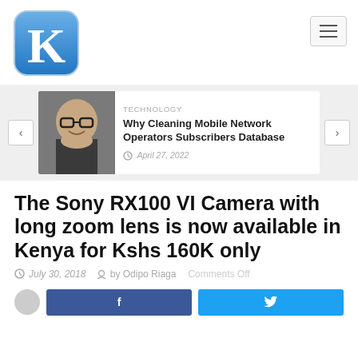[Figure (logo): K letter logo in blue rounded square]
[Figure (other): Hamburger menu button]
[Figure (other): Carousel card with photo of smiling man with glasses]
TECHNOLOGY
Why Cleaning Mobile Network Operators Subscribers Database
April 27, 2022
The Sony RX100 VI Camera with long zoom lens is now available in Kenya for Kshs 160K only
July 30, 2018  by Odipo Riaga  Comments Off